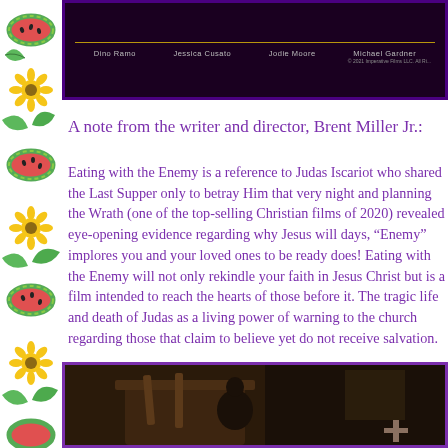[Figure (photo): Top banner with dark background showing cast names: Dino Ramo, Jessica Cusato, Jodie Moore, Michael Gardner, with a gold horizontal line and copyright text, framed in purple border]
A note from the writer and director, Brent Miller Jr.:
Eating with the Enemy is a reference to Judas Iscariot who shared the Last Supper only to betray Him that very night and p... the Wrath (one of the top-selling Christian films of 2020... revealed eye-opening evidence regarding why Jesus wil... days, “Enemy” implores you and your loved ones to be... does! Eating with the Enemy will not only rekindle you... Jesus Christ but is a film intended to reach the hearts of... before it. The tragic life and death of Judas as a living p... warning to the church regarding those that claim to beli... receive salvation.
[Figure (photo): Bottom partial photo showing a dark rustic interior scene with wooden furniture, framed in purple border]